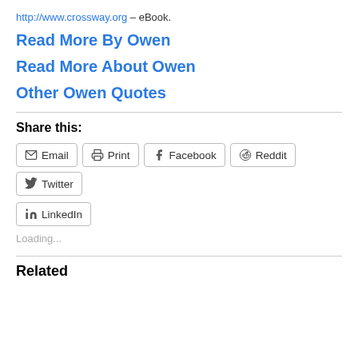http://www.crossway.org – eBook.
Read More By Owen
Read More About Owen
Other Owen Quotes
Share this:
Email  Print  Facebook  Reddit  Twitter  LinkedIn
Loading...
Related